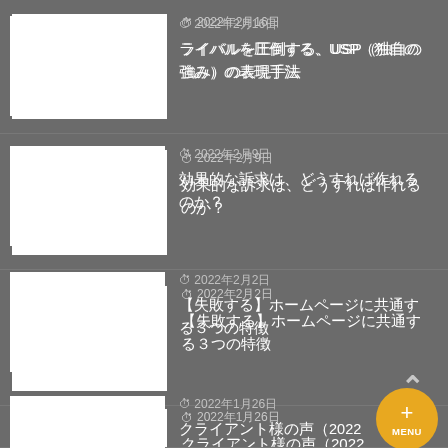2022年2月16日 ライバルを圧倒する、USP（独自の強み）の表現手法
2022年2月9日 効果的な訴求は、どうすれば作れるのか？
2022年2月2日 【失敗する】ホームページに共通する３つの特徴
2022年1月26日 クライアント様の声（2022